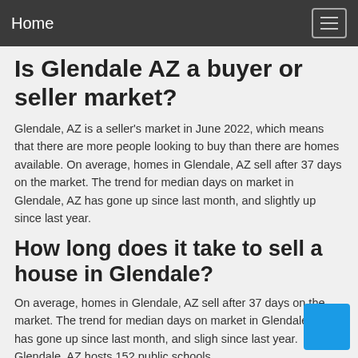Home
Is Glendale AZ a buyer or seller market?
Glendale, AZ is a seller's market in June 2022, which means that there are more people looking to buy than there are homes available. On average, homes in Glendale, AZ sell after 37 days on the market. The trend for median days on market in Glendale, AZ has gone up since last month, and slightly up since last year.
How long does it take to sell a house in Glendale?
On average, homes in Glendale, AZ sell after 37 days on the market. The trend for median days on market in Glendale, AZ has gone up since last month, and sligh since last year. Glendale, AZ hosts 152 public schools